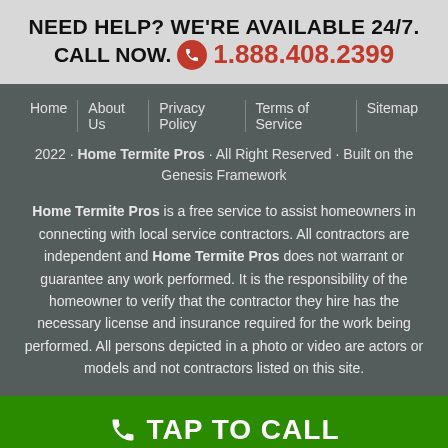NEED HELP? WE'RE AVAILABLE 24/7. CALL NOW. 1.888.408.2399
Home   About Us   Privacy Policy   Terms of Service   Sitemap
2022 · Home Termite Pros · All Right Reserved · Built on the Genesis Framework
Home Termite Pros is a free service to assist homeowners in connecting with local service contractors. All contractors are independent and Home Termite Pros does not warrant or guarantee any work performed. It is the responsibility of the homeowner to verify that the contractor they hire has the necessary license and insurance required for the work being performed. All persons depicted in a photo or video are actors or models and not contractors listed on this site.
TAP TO CALL